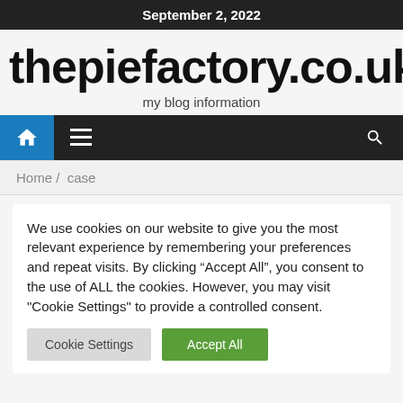September 2, 2022
thepiefactory.co.uk
my blog information
Home / case
We use cookies on our website to give you the most relevant experience by remembering your preferences and repeat visits. By clicking “Accept All”, you consent to the use of ALL the cookies. However, you may visit "Cookie Settings" to provide a controlled consent.